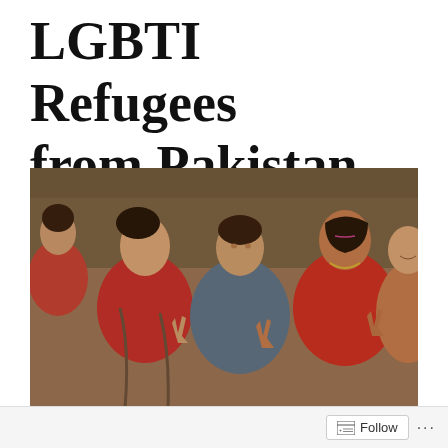LGBTI Refugees from Pakistan
[Figure (photo): Group of transgender women in colorful traditional attire making peace signs with their hands, smiling at the camera]
Follow ...